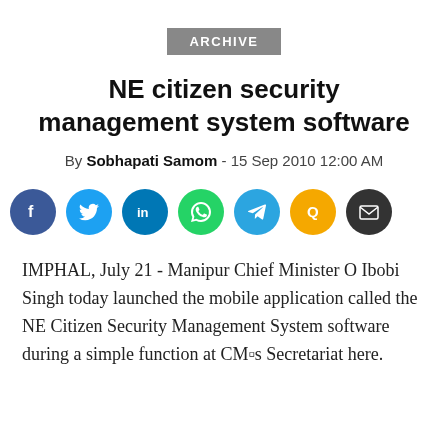ARCHIVE
NE citizen security management system software
By Sobhapati Samom - 15 Sep 2010 12:00 AM
[Figure (infographic): Social media share icons: Facebook, Twitter, LinkedIn, WhatsApp, Telegram, Quora, Email]
IMPHAL, July 21 - Manipur Chief Minister O Ibobi Singh today launched the mobile application called the NE Citizen Security Management System software during a simple function at CM■s Secretariat here.